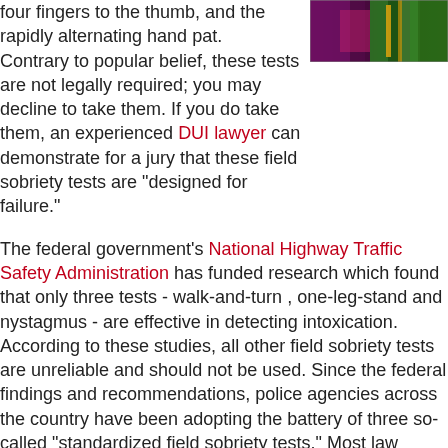four fingers to the thumb, and the rapidly alternating hand pat. Contrary to popular belief, these tests are not legally required; you may decline to take them. If you do take them, an experienced DUI lawyer can demonstrate for a jury that these field sobriety tests are "designed for failure."
[Figure (photo): Close-up photo of colorful lights or reflections, dark background with green, yellow, and pink/purple colors]
The federal government's National Highway Traffic Safety Administration has funded research which found that only three tests - walk-and-turn , one-leg-stand and nystagmus - are effective in detecting intoxication. According to these studies, all other field sobriety tests are unreliable and should not be used. Since the federal findings and recommendations, police agencies across the country have been adopting the battery of three so-called "standardized field sobriety tests." Most law enforcement agencies in California, however, have resisted the change: this permits them to (1) continue to use the tests they prefer, (2) avoid being held up to federal standards in administration of the three tests, and (3) avoid the use